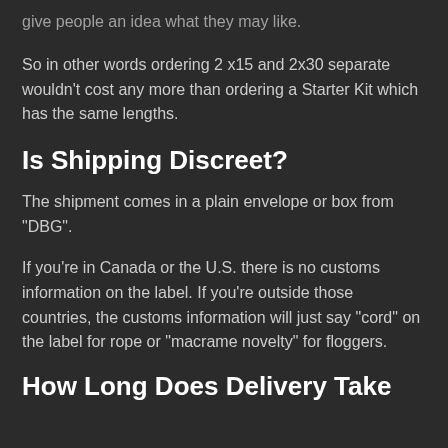give people an idea what they may like.
So in other words ordering 2 x15 and 2x30 separate wouldn't cost any more than ordering a Starter Kit which has the same lengths.
Is Shipping Discreet?
The shipment comes in a plain envelope or box from "DBG".
If you're in Canada or the U.S. there is no customs information on the label. If you're outside those countries, the customs information will just say "cord" on the label for rope or "macrame novelty" for floggers.
How Long Does Delivery Take